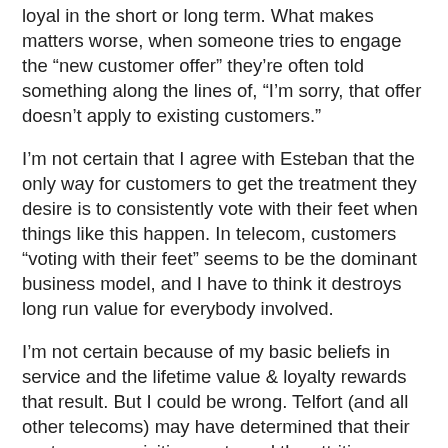loyal in the short or long term. What makes matters worse, when someone tries to engage the “new customer offer” they’re often told something along the lines of, “I’m sorry, that offer doesn’t apply to existing customers.”
I’m not certain that I agree with Esteban that the only way for customers to get the treatment they desire is to consistently vote with their feet when things like this happen. In telecom, customers “voting with their feet” seems to be the dominant business model, and I have to think it destroys long run value for everybody involved.
I’m not certain because of my basic beliefs in service and the lifetime value & loyalty rewards that result. But I could be wrong. Telfort (and all other telecoms) may have determined that their customer acquisition costs and the attrition related to existing customers scorned by the availability of better new deals are much less than providing continuously better (or best) value to their loyal, existing customer base. Its not a strategy that I would start with, but if everyone else in the industry used the same one (and it appears that they do) it might be the one that works best